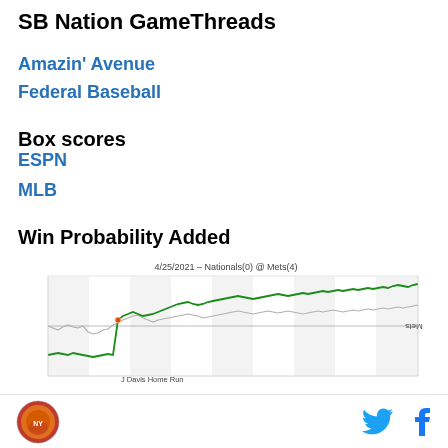SB Nation GameThreads
Amazin' Avenue
Federal Baseball
Box scores
ESPN
MLB
Win Probability Added
[Figure (line-chart): Win probability added chart showing Mets win probability rising sharply after J Davis Home Run, ending high]